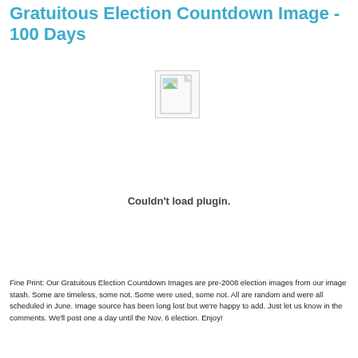Gratuitous Election Countdown Image - 100 Days
[Figure (other): Broken plugin / missing image icon showing a document with a small landscape thumbnail in the top-left corner, indicating a plugin that could not load.]
Couldn't load plugin.
Fine Print: Our Gratuitous Election Countdown Images are pre-2008 election images from our image stash. Some are timeless, some not. Some were used, some not. All are random and were all scheduled in June. Image source has been long lost but we're happy to add. Just let us know in the comments. We'll post one a day until the Nov. 6 election. Enjoy!